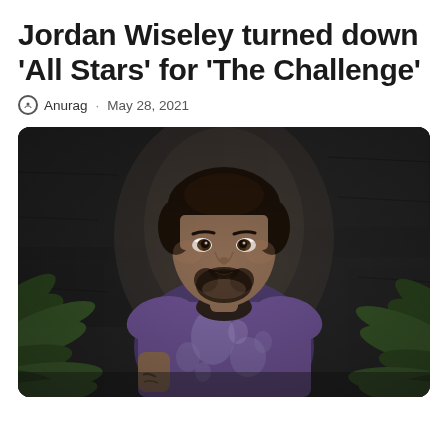Jordan Wiseley turned down 'All Stars' for 'The Challenge'
Anurag · May 28, 2021
[Figure (photo): Jordan Wiseley seated in front of a dark stone wall with green tropical foliage visible on both sides, wearing a purple mesh/knit t-shirt, looking slightly to the side with a slight smile and beard.]